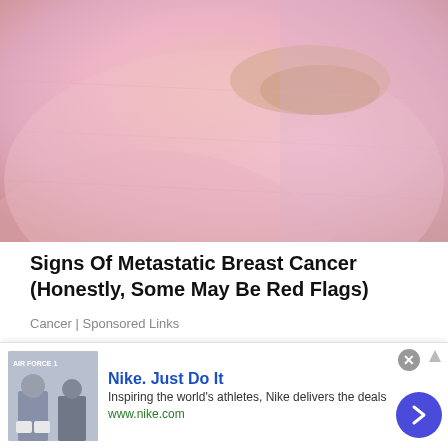[Figure (photo): Close-up of a person wearing a pink top, with hands placed on chest/breast area, representing breast cancer awareness or self-examination.]
Signs Of Metastatic Breast Cancer (Honestly, Some May Be Red Flags)
Cancer | Sponsored Links
[Figure (photo): Partial view of a second article image showing a door knob or lock on a wooden door, partially obscured by an advertisement overlay.]
infolinks
Nike. Just Do It
Inspiring the world's athletes, Nike delivers the deals
www.nike.com